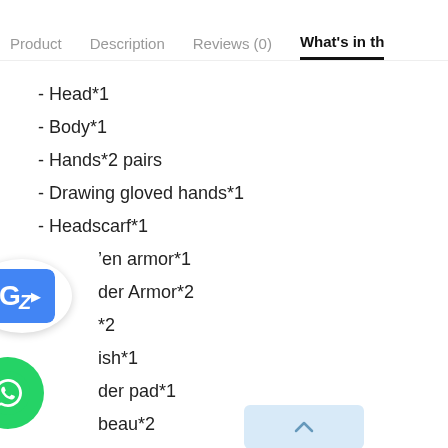Product   Description   Reviews (0)   What's in th
- Head*1
- Body*1
- Hands*2 pairs
- Drawing gloved hands*1
- Headscarf*1
- [hidden]en armor*1
- [hidden]der Armor*2
- [hidden]*2
- [hidden]ish*1
- [hidden]der pad*1
- [hidden]beau*2
- Undershirt*1
- Coat*1
- Pants*1 pair
- Belt*1